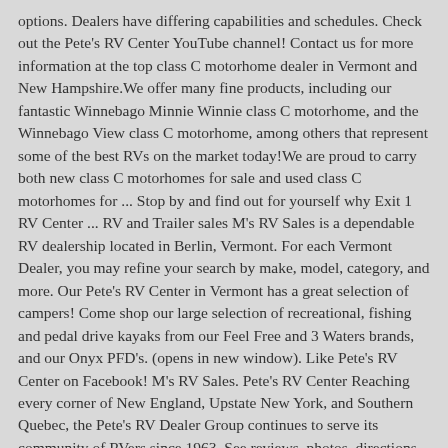options. Dealers have differing capabilities and schedules. Check out the Pete's RV Center YouTube channel! Contact us for more information at the top class C motorhome dealer in Vermont and New Hampshire.We offer many fine products, including our fantastic Winnebago Minnie Winnie class C motorhome, and the Winnebago View class C motorhome, among others that represent some of the best RVs on the market today!We are proud to carry both new class C motorhomes for sale and used class C motorhomes for ... Stop by and find out for yourself why Exit 1 RV Center ... RV and Trailer sales M's RV Sales is a dependable RV dealership located in Berlin, Vermont. For each Vermont Dealer, you may refine your search by make, model, category, and more. Our Pete's RV Center in Vermont has a great selection of campers! Come shop our large selection of recreational, fishing and pedal drive kayaks from our Feel Free and 3 Waters brands, and our Onyx PFD's. (opens in new window). Like Pete's RV Center on Facebook! M's RV Sales. Pete's RV Center Reaching every corner of New England, Upstate New York, and Southern Quebec, the Pete's RV Dealer Group continues to serve its community of RVers since 1963. See reviews, photos, directions, phone numbers and more for the best Recreational Vehicles & Campers in Burlington, VT. (opens in new window). Follow Pete's RV Center on Instagram! Please call the dealer first to